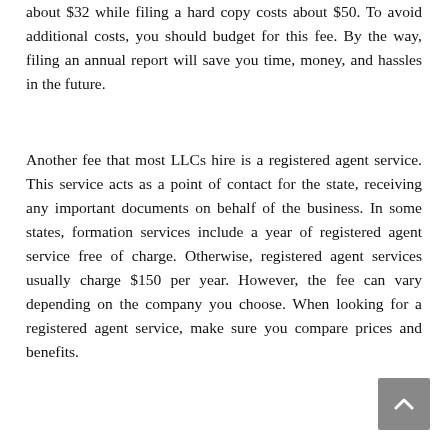about $32 while filing a hard copy costs about $50. To avoid additional costs, you should budget for this fee. By the way, filing an annual report will save you time, money, and hassles in the future.
Another fee that most LLCs hire is a registered agent service. This service acts as a point of contact for the state, receiving any important documents on behalf of the business. In some states, formation services include a year of registered agent service free of charge. Otherwise, registered agent services usually charge $150 per year. However, the fee can vary depending on the company you choose. When looking for a registered agent service, make sure you compare prices and benefits.